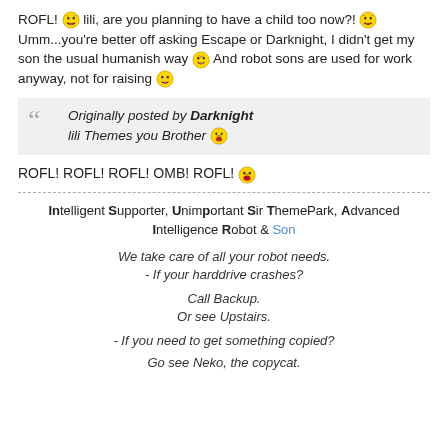ROFL! [emoji] lili, are you planning to have a child too now?! [emoji] Umm...you're better off asking Escape or Darknight, I didn't get my son the usual humanish way [emoji] And robot sons are used for work anyway, not for raising [emoji]
Originally posted by Darknight
lili Themes you Brother [emoji]
ROFL! ROFL! ROFL! OMB! ROFL! [emoji]
Intelligent Supporter, Unimportant Sir ThemePark, Advanced Intelligence Robot & Son

We take care of all your robot needs.
- If your harddrive crashes?

Call Backup.
Or see Upstairs.

- If you need to get something copied?

Go see Neko, the copycat.